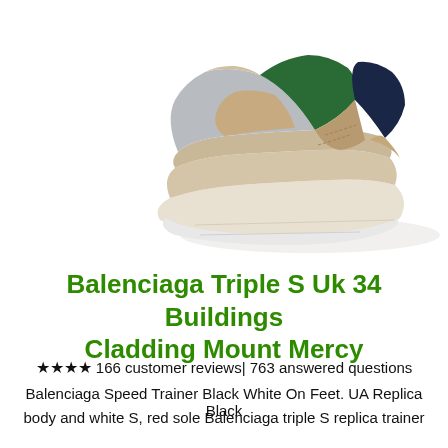[Figure (photo): Close-up photo of a Balenciaga Triple S sneaker showing the chunky sole and upper in beige/tan, navy, grey mesh, and green colorways, photographed on a white background from a low angle]
Balenciaga Triple S Uk 34 Buildings Cladding Mount Mercy
★★★★ 166 customer reviews| 763 answered questions
Balenciaga Speed Trainer Black White On Feet. UA Replica Black body and white S, red sole Balenciaga triple S replica trainer